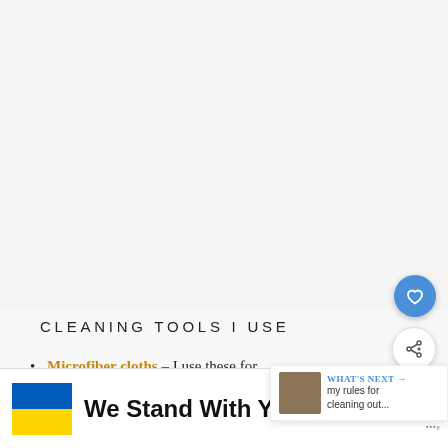[Figure (other): Large light gray blank content area at top of page, representing an image or video placeholder]
CLEANING TOOLS I USE
Microfiber cloths – I use these for instead of paper towels! They are easy to wash
[Figure (screenshot): What's Next panel showing a thumbnail image and text: 'my rules for cleaning out...']
[Figure (infographic): Ukraine flag colors (blue and yellow) with 'We Stand With You' text and close button, advertisement banner]